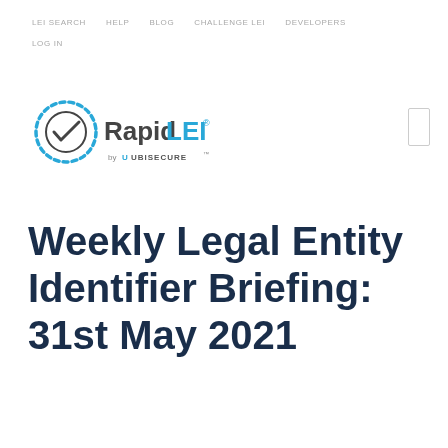LEI SEARCH   HELP   BLOG   CHALLENGE LEI   DEVELOPERS   LOG IN
[Figure (logo): RapidLEI by Ubisecure logo — circular dashed badge with checkmark icon, followed by 'RapidLEI®' text in dark/cyan, 'by Ubisecure' subtitle]
Weekly Legal Entity Identifier Briefing: 31st May 2021